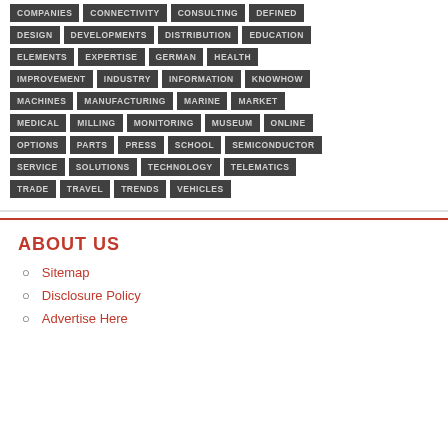COMPANIES CONNECTIVITY CONSULTING DEFINED
DESIGN DEVELOPMENTS DISTRIBUTION EDUCATION
ELEMENTS EXPERTISE GERMAN HEALTH
IMPROVEMENT INDUSTRY INFORMATION KNOWHOW
MACHINES MANUFACTURING MARINE MARKET
MEDICAL MILLING MONITORING MUSEUM ONLINE
OPTIONS PARTS PRESS SCHOOL SEMICONDUCTOR
SERVICE SOLUTIONS TECHNOLOGY TELEMATICS
TRADE TRAVEL TRENDS VEHICLES
ABOUT US
Sitemap
Disclosure Policy
Advertise Here